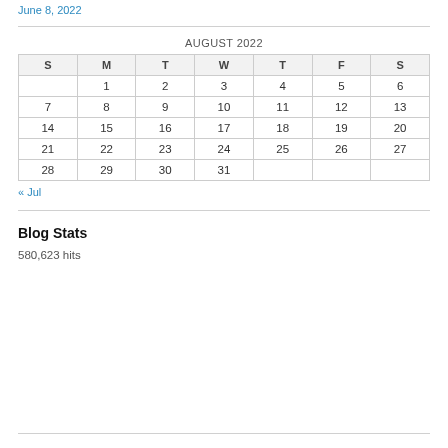June 8, 2022
| S | M | T | W | T | F | S |
| --- | --- | --- | --- | --- | --- | --- |
|  | 1 | 2 | 3 | 4 | 5 | 6 |
| 7 | 8 | 9 | 10 | 11 | 12 | 13 |
| 14 | 15 | 16 | 17 | 18 | 19 | 20 |
| 21 | 22 | 23 | 24 | 25 | 26 | 27 |
| 28 | 29 | 30 | 31 |  |  |  |
« Jul
Blog Stats
580,623 hits